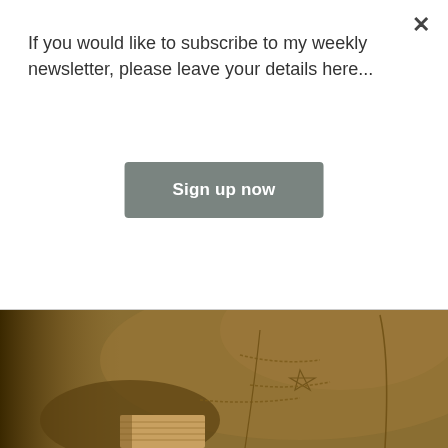If you would like to subscribe to my weekly newsletter, please leave your details here...
×
Sign up now
[Figure (photo): Close-up photograph of a tan/caramel suede western-style ankle boot with a stacked wooden block heel, showing decorative stitching and embossed star detail on the upper.]